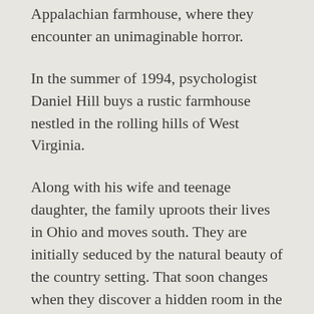This psychological thriller follows a family to their Appalachian farmhouse, where they encounter an unimaginable horror.
In the summer of 1994, psychologist Daniel Hill buys a rustic farmhouse nestled in the rolling hills of West Virginia.
Along with his wife and teenage daughter, the family uproots their lives in Ohio and moves south. They are initially seduced by the natural beauty of the country setting. That soon changes when they discover a hidden room in the basement with a well, boarded shut and adorned with crucifixes.
Local legends about the previous owner being an exorcist come to light, but by then, all Hell has broken loose.